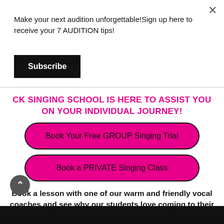Make your next audition unforgettable!Sign up here to receive your 7 AUDITION tips!
Subscribe
CK SINGING SCHOOL IS HERE TO ASSIST YOU ON YOUR INDIVIDUAL JOURNEY!
Book Your Free GROUP Singing Trial
Book a PRIVATE Singing Class
Book a lesson with one of our warm and friendly vocal coaches and see why our students love coming to their weekly class year after year!
[Figure (screenshot): Black bar at the bottom representing a video or image area]